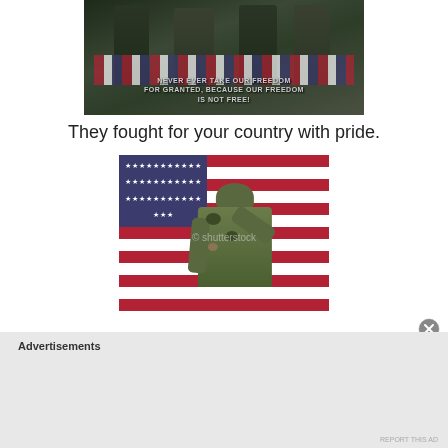[Figure (photo): Military soldiers in dress uniform carrying a flag-draped coffin. Overlay text reads: NEVER EVER TAKE OUR FREEDOM FOR GRANTED, BECAUSE OUR FREEDOM IS NOT FREE!]
They fought for your country with pride.
[Figure (photo): A soldier in camouflage uniform seen from behind, saluting in front of a large American flag. Shutterstock watermark visible.]
Advertisements